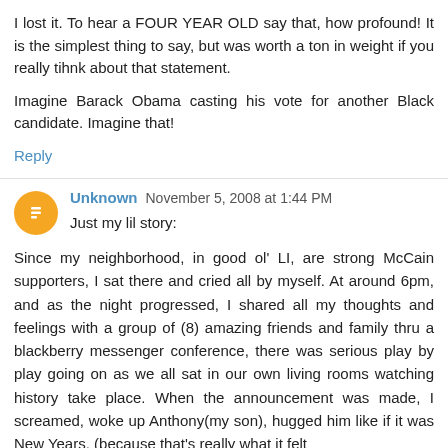I lost it. To hear a FOUR YEAR OLD say that, how profound! It is the simplest thing to say, but was worth a ton in weight if you really tihnk about that statement.
Imagine Barack Obama casting his vote for another Black candidate. Imagine that!
Reply
Unknown  November 5, 2008 at 1:44 PM
Just my lil story:
Since my neighborhood, in good ol' LI, are strong McCain supporters, I sat there and cried all by myself. At around 6pm, and as the night progressed, I shared all my thoughts and feelings with a group of (8) amazing friends and family thru a blackberry messenger conference, there was serious play by play going on as we all sat in our own living rooms watching history take place. When the announcement was made, I screamed, woke up Anthony(my son), hugged him like if it was New Years, (because that's really what it felt like...